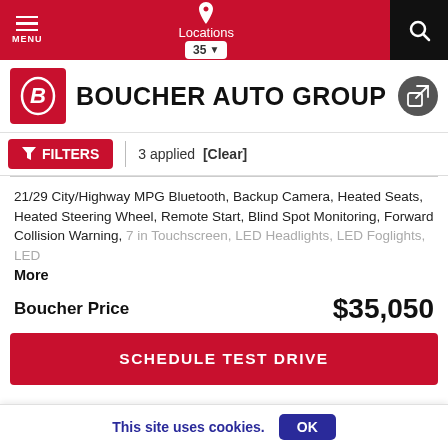MENU | Locations 35 | Search
BOUCHER AUTO GROUP
FILTERS | 3 applied [Clear]
21/29 City/Highway MPG Bluetooth, Backup Camera, Heated Seats, Heated Steering Wheel, Remote Start, Blind Spot Monitoring, Forward Collision Warning, 7 in Touchscreen, LED Headlights, LED Foglights, LED More
Boucher Price  $35,050
SCHEDULE TEST DRIVE
This site uses cookies.  OK